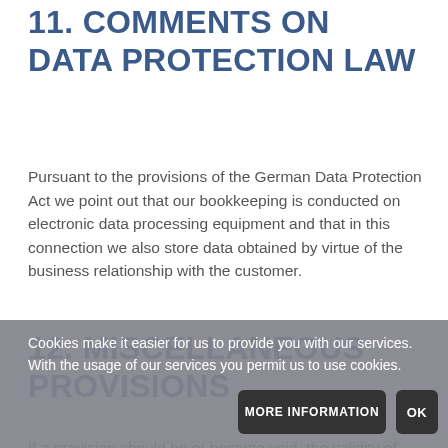11. COMMENTS ON DATA PROTECTION LAW
Pursuant to the provisions of the German Data Protection Act we point out that our bookkeeping is conducted on electronic data processing equipment and that in this connection we also store data obtained by virtue of the business relationship with the customer.
12. MISCELLANEOUS PROVISIONS
If a provision should be or become void, the validity of
Cookies make it easier for us to provide you with our services. With the usage of our services you permit us to use cookies.